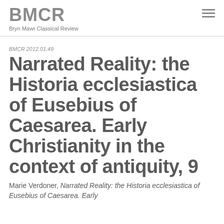BMCR
Bryn Mawr Classical Review
BMCR 2012.01.49
Narrated Reality: the Historia ecclesiastica of Eusebius of Caesarea. Early Christianity in the context of antiquity, 9
Marie Verdoner, Narrated Reality: the Historia ecclesiastica of Eusebius of Caesarea. Early